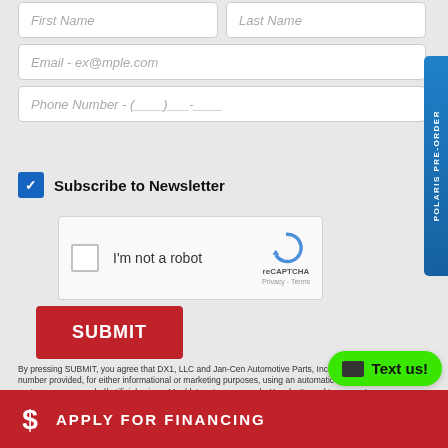[Figure (screenshot): Web form with First Name, Last Name, Email, Phone Number input fields, Subscribe to Newsletter checkbox, reCAPTCHA widget, SUBMIT button, legal disclaimer text, and Apply for Financing banner at bottom with Text us button and Polaris Pre-Order side tab.]
Subscribe to Newsletter
I'm not a robot
reCAPTCHA
Privacy - Terms
SUBMIT
By pressing SUBMIT, you agree that DX1, LLC and Jan-Cen Automotive Parts, Inc may call/text you at the number provided, for either informational or marketing purposes, using an automatic telephone dialing system or pre-recorded/artificial voices. Msg/data rates may apply. You don't need to consent as a condition of any purchase & you may revoke your consent at anytime. You also agree to our Privacy Statement & Terms of Use.
APPLY FOR FINANCING
Text us!
POLARIS PRE-ORDER